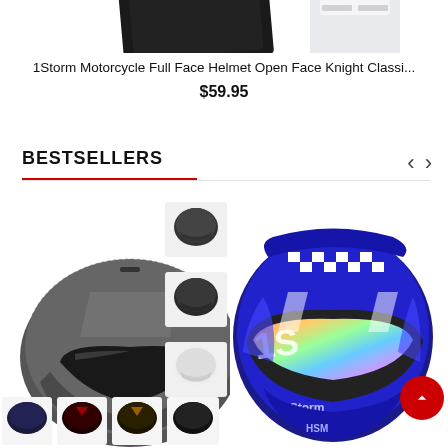[Figure (photo): Partial view of two products (helmets/boxes) cropped at top of page]
1Storm Motorcycle Full Face Helmet Open Face Knight Classi...
$59.95
BESTSELLERS
[Figure (photo): Gray/carbon fiber modular motorcycle helmet shown from multiple angles with four color variant thumbnails at bottom]
[Figure (photo): Blue and white 1Storm dual sport motorcycle helmet with iridescent visor]